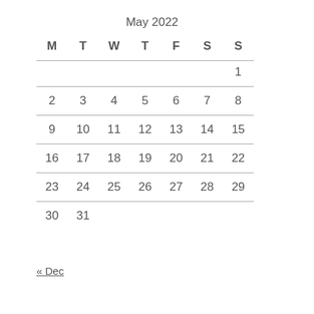May 2022
| M | T | W | T | F | S | S |
| --- | --- | --- | --- | --- | --- | --- |
|  |  |  |  |  |  | 1 |
| 2 | 3 | 4 | 5 | 6 | 7 | 8 |
| 9 | 10 | 11 | 12 | 13 | 14 | 15 |
| 16 | 17 | 18 | 19 | 20 | 21 | 22 |
| 23 | 24 | 25 | 26 | 27 | 28 | 29 |
| 30 | 31 |  |  |  |  |  |
« Dec